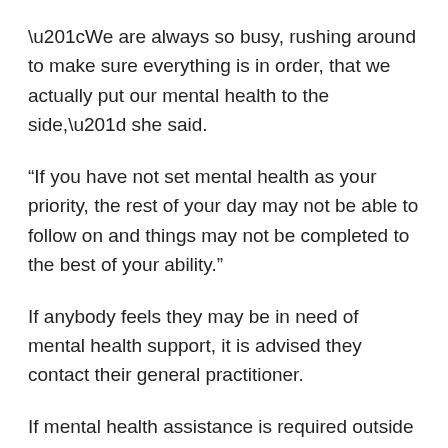“We are always so busy, rushing around to make sure everything is in order, that we actually put our mental health to the side,” she said.
“If you have not set mental health as your priority, the rest of your day may not be able to follow on and things may not be completed to the best of your ability.”
If anybody feels they may be in need of mental health support, it is advised they contact their general practitioner.
If mental health assistance is required outside of normal business hours, the Mental Health Triage Service can be contacted on on 13 14 65.
Limestone Coast fundraiser The Fully Monty will be celebrated as the final Time Out October event held on